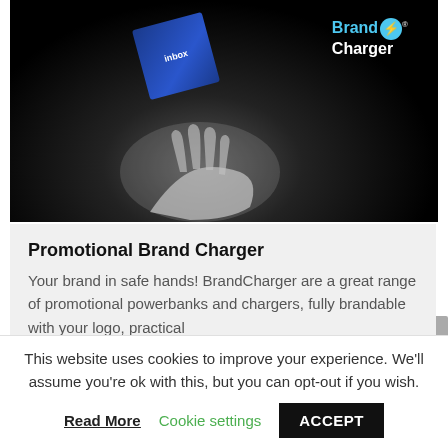[Figure (photo): Dark background photo showing a hand holding up a blue branded product box (Inbox brand), with BrandCharger logo (lightning bolt icon) in top right corner.]
Promotional Brand Charger
Your brand in safe hands! BrandCharger are a great range of promotional powerbanks and chargers, fully brandable with your logo, practical
This website uses cookies to improve your experience. We'll assume you're ok with this, but you can opt-out if you wish.
Read More   Cookie settings   ACCEPT